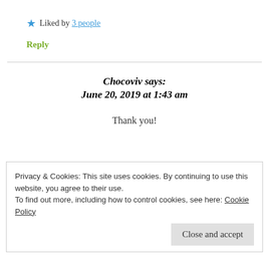★ Liked by 3 people
Reply
Chocoviv says:
June 20, 2019 at 1:43 am
Thank you!
Privacy & Cookies: This site uses cookies. By continuing to use this website, you agree to their use.
To find out more, including how to control cookies, see here: Cookie Policy
Close and accept
TheBlackPrincessDiaries says: